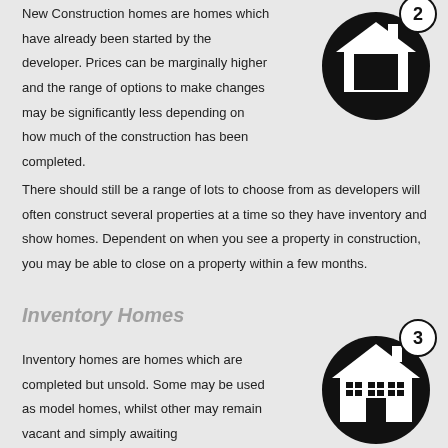New Construction homes are homes which have already been started by the developer. Prices can be marginally higher and the range of options to make changes may be significantly less depending on how much of the construction has been completed.
[Figure (illustration): Black circle icon with white house/garage illustration, number 2 badge in top right]
There should still be a range of lots to choose from as developers will often construct several properties at a time so they have inventory and show homes. Dependent on when you see a property in construction, you may be able to close on a property within a few months.
Inventory Homes
[Figure (illustration): Black circle icon with white house illustration, number 3 badge in top right]
Inventory homes are homes which are completed but unsold. Some may be used as model homes, whilst other may remain vacant and simply awaiting